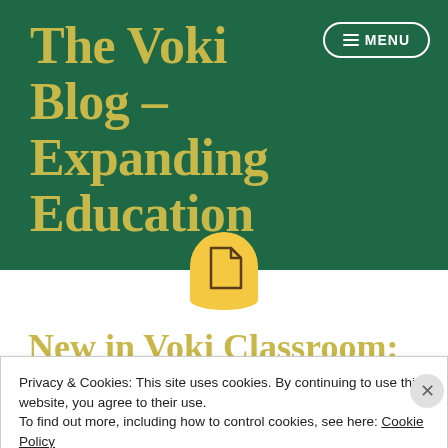The Voki Blog – Expanding Education
[Figure (illustration): Yellow rounded document/page icon with a dark document symbol in the center, overlapping the green and white sections]
New in Voki Classroom:
Privacy & Cookies: This site uses cookies. By continuing to use this website, you agree to their use.
To find out more, including how to control cookies, see here: Cookie Policy
Close and accept